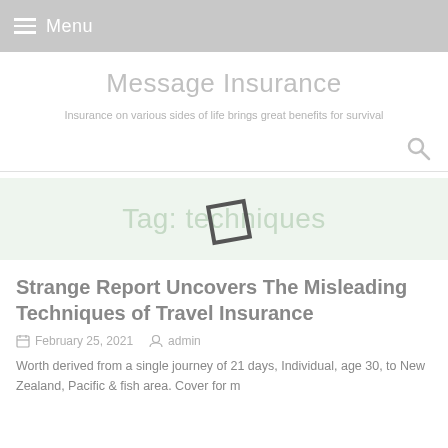Menu
Message Insurance
Insurance on various sides of life brings great benefits for survival
Tag: techniques
Strange Report Uncovers The Misleading Techniques of Travel Insurance
February 25, 2021   admin
Worth derived from a single journey of 21 days, Individual, age 30, to New Zealand, Pacific & fish area. Cover for m...